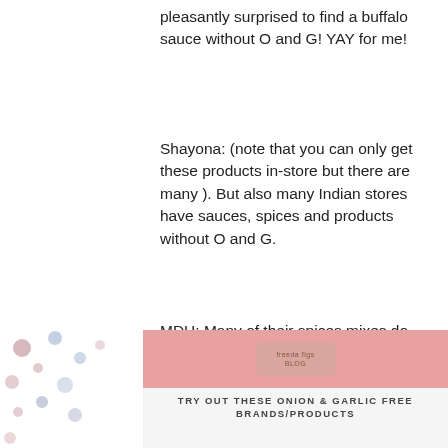pleasantly surprised to find a buffalo sauce without O and G! YAY for me!
Shayona: (note that you can only get these products in-store but there are many ). But also many Indian stores have sauces, spices and products without O and G.
MDH: Many of their spices mixes do not contain O and G, and you can generally find them in any Indian grocery store! But I also buy spice mixes from Chandika, a wonderful ayurvedic online store.
[Figure (infographic): Pink and light background infographic with decorative dots on the left side, a stamp/label in the center of the pink banner, and bold uppercase text reading 'TRY OUT THESE ONION & GARLIC FREE BRANDS/PRODUCTS']